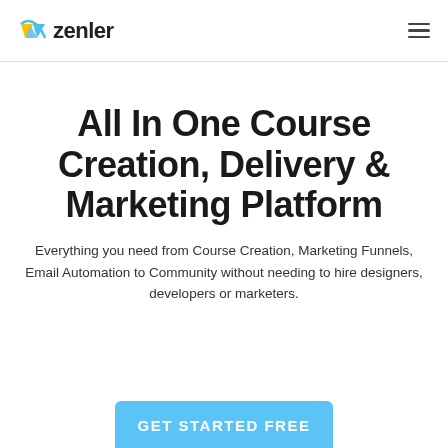zenler
All In One Course Creation, Delivery & Marketing Platform
Everything you need from Course Creation, Marketing Funnels, Email Automation to Community without needing to hire designers, developers or marketers.
GET STARTED FREE